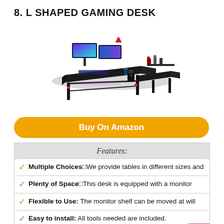8. L SHAPED GAMING DESK
[Figure (photo): L-shaped gaming desk with dual monitors, RGB lighting, monitor riser shelf, gaming peripherals and accessories on desk surface, black metal frame, product photo on white background]
Buy On Amazon
Features:
Multiple ChoicesⁿWe provide tables in different sizes and
Plenty of SpaceⁿThis desk is equipped with a monitor
Flexible to Use: The monitor shelf can be moved at will
Easy to install: All tools needed are included.
Customer Service: We provide 3-year warranty and our